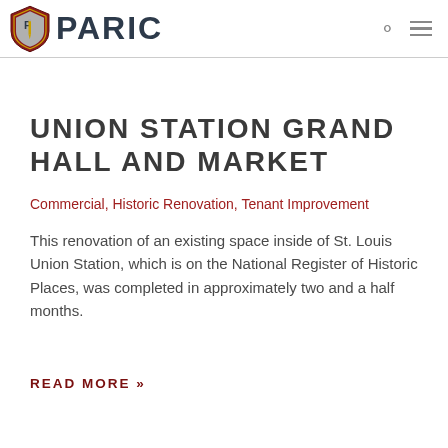PARIC
UNION STATION GRAND HALL AND MARKET
Commercial,  Historic Renovation,  Tenant Improvement
This renovation of an existing space inside of St. Louis Union Station, which is on the National Register of Historic Places, was completed in approximately two and a half months.
READ MORE »